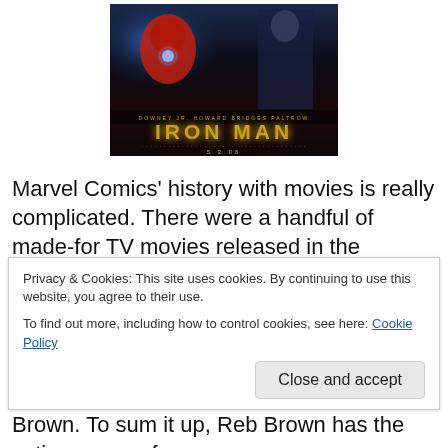[Figure (photo): Iron Man movie poster showing the Iron Man suit with golden 'IRON MAN' text, actor credits at bottom, and a figure in the background]
Marvel Comics' history with movies is really complicated. There were a handful of made-for TV movies released in the 1970's. There's a Doctor Strange movie from 1978 that they hoped would turn into a TV show. Even if you're 100% sober all the time, that movie's special effects will
Privacy & Cookies: This site uses cookies. By continuing to use this website, you agree to their use.
To find out more, including how to control cookies, see here: Cookie Policy
Close and accept
Brown. To sum it up, Reb Brown has the acting range of a